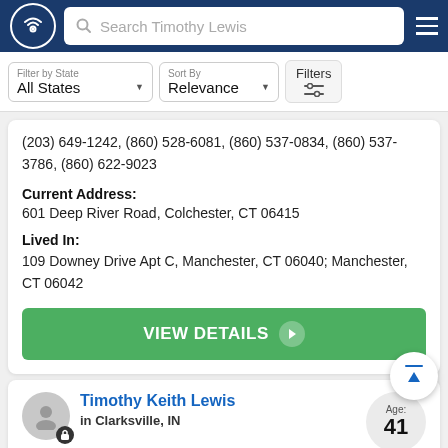Search Timothy Lewis
(203) 649-1242, (860) 528-6081, (860) 537-0834, (860) 537-3786, (860) 622-9023
Current Address:
601 Deep River Road, Colchester, CT 06415
Lived In:
109 Downey Drive Apt C, Manchester, CT 06040; Manchester, CT 06042
VIEW DETAILS
Timothy Keith Lewis
in Clarksville, IN
Age: 41